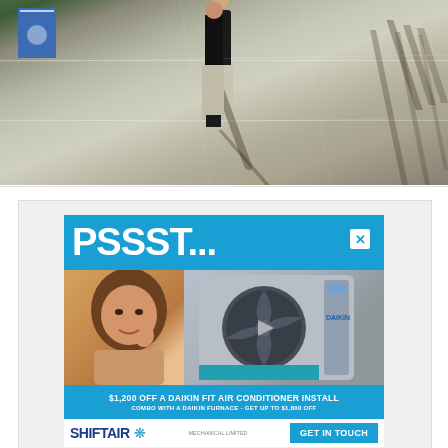[Figure (photo): Aerial or overhead-angle photo of a person standing on a concrete surface (parking lot/plaza), wearing a black top and light gray pants with dark shoes. Blue handicap parking space visible in top-left. Multiple long shadows cast to the right.]
[Figure (screenshot): Advertisement screenshot for ShiftAir Mechanical Limited promoting a Daikin Fit air conditioner install. Text reads 'PSSST... WE HAVE A NEW OFFER FOR YA', '$1,200 OFF A DAIKIN FIT AIR CONDITIONER INSTALL', 'COMBO WITH A DAIKIN FURNACE - GET UP TO $1,800 OFF', with a 'GET IN TOUCH' button. Features a woman and an AC unit image. Blue background with white text.]